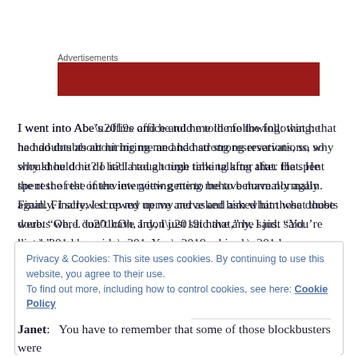Advertisements
[Figure (other): Dark red advertisement banner rectangle]
I went into Abe’s office and he told me the following: that he had doubts about hiring me and had strong reservations, so why should he do it? I had a tough time talking after that. He spent the rest of the interview getting me to behave normally again. Finally, I screwed up my nerve and asked him what those doubts were. “Oh, I don’t have any, I just said that,” he said. “You’re hired.”
Privacy & Cookies: This site uses cookies. By continuing to use this website, you agree to their use.
To find out more, including how to control cookies, see here: Cookie Policy
Janet:   You have to remember that some of those blockbusters were